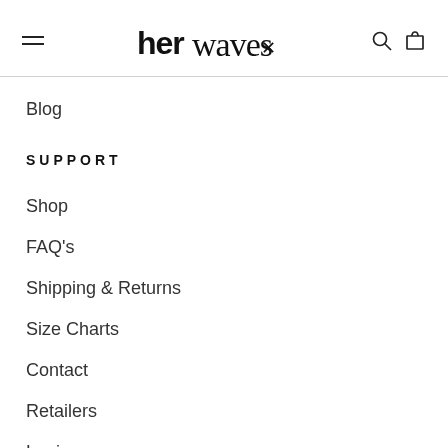herwaves navigation header with hamburger menu, logo, search and cart icons
Blog
SUPPORT
Shop
FAQ's
Shipping & Returns
Size Charts
Contact
Retailers
Login
Create An Account